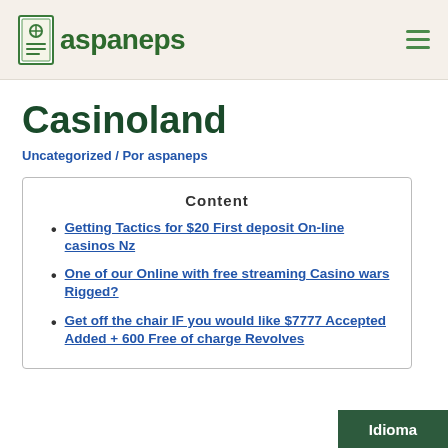aspaneps
Casinoland
Uncategorized / Por aspaneps
Content
Getting Tactics for $20 First deposit On-line casinos Nz
One of our Online with free streaming Casino wars Rigged?
Get off the chair IF you would like $7777 Accepted Added + 600 Free of charge Revolves